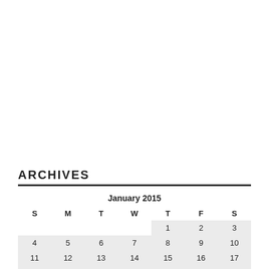ARCHIVES
| S | M | T | W | T | F | S |
| --- | --- | --- | --- | --- | --- | --- |
|  |  |  |  | 1 | 2 | 3 |
| 4 | 5 | 6 | 7 | 8 | 9 | 10 |
| 11 | 12 | 13 | 14 | 15 | 16 | 17 |
| 18 | 19 | 20 | 21 | 22 | 23 | 24 |
| 25 | 26 | 27 | 28 | 29 | 30 | 31 |